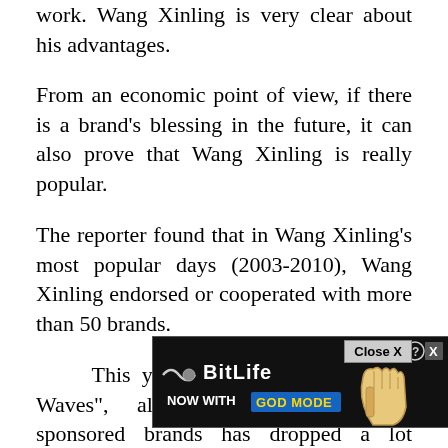work. Wang Xinling is very clear about his advantages.
From an economic point of view, if there is a brand's blessing in the future, it can also prove that Wang Xinling is really popular.
The reporter found that in Wang Xinling's most popular days (2003-2010), Wang Xinling endorsed or cooperated with more than 50 brands.
This year's "Riding the Wind and Waves", although the number of sponsored brands has dropped a lot compared to the previous year, there
[Figure (screenshot): BitLife advertisement banner with 'NOW WITH GOD MODE' text, close button, and pointing hand graphic]